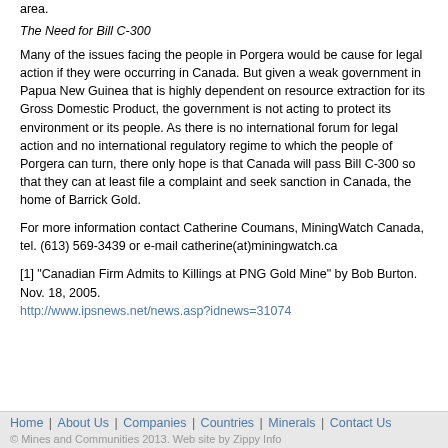area.
The Need for Bill C-300
Many of the issues facing the people in Porgera would be cause for legal action if they were occurring in Canada. But given a weak government in Papua New Guinea that is highly dependent on resource extraction for its Gross Domestic Product, the government is not acting to protect its environment or its people. As there is no international forum for legal action and no international regulatory regime to which the people of Porgera can turn, there only hope is that Canada will pass Bill C-300 so that they can at least file a complaint and seek sanction in Canada, the home of Barrick Gold.
For more information contact Catherine Coumans, MiningWatch Canada, tel. (613) 569-3439 or e-mail catherine(at)miningwatch.ca
[1] "Canadian Firm Admits to Killings at PNG Gold Mine" by Bob Burton. Nov. 18, 2005. http://www.ipsnews.net/news.asp?idnews=31074
Home | About Us | Companies | Countries | Minerals | Contact Us © Mines and Communities 2013. Web site by Zippy Info